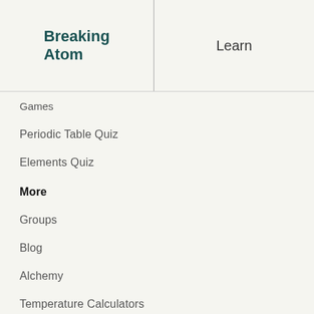Breaking Atom
Learn
Games
Periodic Table Quiz
Elements Quiz
More
Groups
Blog
Alchemy
Temperature Calculators